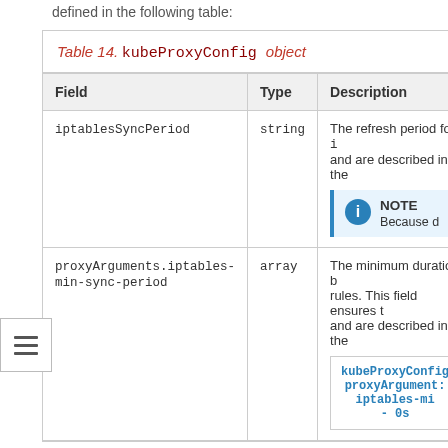defined in the following table:
| Field | Type | Description |
| --- | --- | --- |
| iptablesSyncPeriod | string | The refresh period for i and are described in the [NOTE: Because d] |
| proxyArguments.iptables-min-sync-period | array | The minimum duration b rules. This field ensures t and are described in the [kubeProxyConfig proxyArguments: iptables-mi - 0s] |